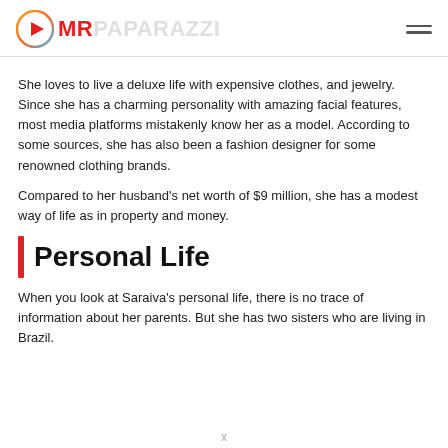MR PAPARAZZI
She loves to live a deluxe life with expensive clothes, and jewelry. Since she has a charming personality with amazing facial features, most media platforms mistakenly know her as a model. According to some sources, she has also been a fashion designer for some renowned clothing brands.
Compared to her husband's net worth of $9 million, she has a modest way of life as in property and money.
Personal Life
When you look at Saraiva's personal life, there is no trace of information about her parents. But she has two sisters who are living in Brazil.